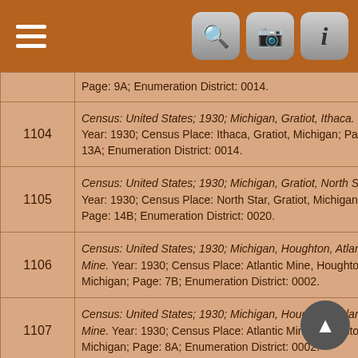Navigation bar with menu, search, camera, and info icons
| # | Source |
| --- | --- |
|  | Page: 9A; Enumeration District: 0014. |
| 1104 | Census: United States; 1930; Michigan, Gratiot, Ithaca. Year: 1930; Census Place: Ithaca, Gratiot, Michigan; Page: 13A; Enumeration District: 0014. |
| 1105 | Census: United States; 1930; Michigan, Gratiot, North Star. Year: 1930; Census Place: North Star, Gratiot, Michigan; Page: 14B; Enumeration District: 0020. |
| 1106 | Census: United States; 1930; Michigan, Houghton, Atlantic Mine. Year: 1930; Census Place: Atlantic Mine, Houghton, Michigan; Page: 7B; Enumeration District: 0002. |
| 1107 | Census: United States; 1930; Michigan, Houghton, Atlantic Mine. Year: 1930; Census Place: Atlantic Mine, Houghton, Michigan; Page: 8A; Enumeration District: 0002. |
| 1108 | Census: United States; 1930; Michigan, Houghton, Atlantic Mine. Year: 1930; Census Place: Atlantic Mine, Houghton, Michigan; Page: 2A; Enumeration District: 0002. |